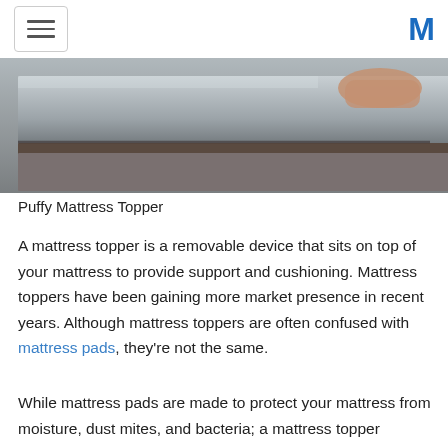[hamburger menu] [M logo]
[Figure (photo): Close-up photo of a mattress topper being placed on a mattress, showing gray fabric and a hand pulling it into position.]
Puffy Mattress Topper
A mattress topper is a removable device that sits on top of your mattress to provide support and cushioning. Mattress toppers have been gaining more market presence in recent years. Although mattress toppers are often confused with mattress pads, they're not the same.
While mattress pads are made to protect your mattress from moisture, dust mites, and bacteria; a mattress topper